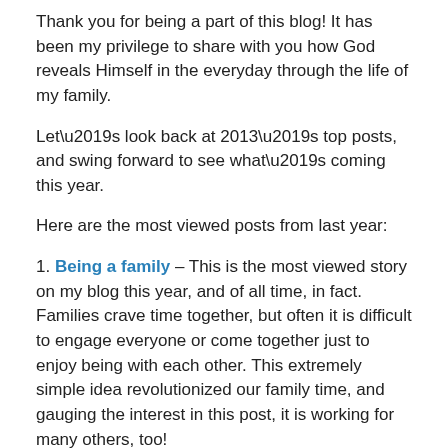Thank you for being a part of this blog! It has been my privilege to share with you how God reveals Himself in the everyday through the life of my family.
Let’s look back at 2013’s top posts, and swing forward to see what’s coming this year.
Here are the most viewed posts from last year:
1. Being a family – This is the most viewed story on my blog this year, and of all time, in fact. Families crave time together, but often it is difficult to engage everyone or come together just to enjoy being with each other. This extremely simple idea revolutionized our family time, and gauging the interest in this post, it is working for many others, too!
2. God is not a risk-taker – God opened my eyes to His